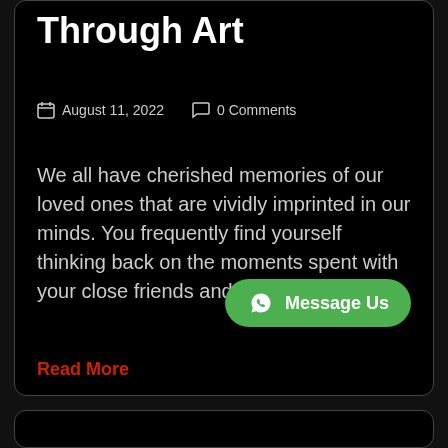Through Art
August 11, 2022   0 Comments
We all have cherished memories of our loved ones that are vividly imprinted in our minds. You frequently find yourself thinking back on the moments spent with your close friends and family.
Read More
[Figure (other): WhatsApp Message Us button (green pill button with WhatsApp logo)]